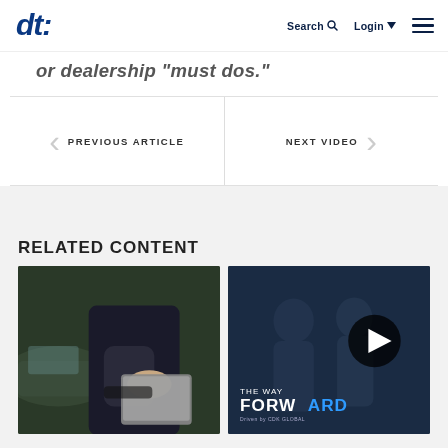DT logo | Search | Login | Menu
or dealership 'must dos.'
< PREVIOUS ARTICLE | NEXT VIDEO >
RELATED CONTENT
[Figure (photo): Person in dark suit holding a tablet device near a car in a dealership]
[Figure (photo): The Way Forward video thumbnail with two people and play button overlay]